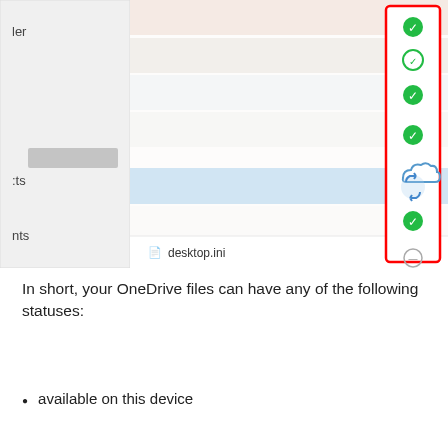[Figure (screenshot): Screenshot of Windows File Explorer showing OneDrive files with a column of sync status icons highlighted in a red rectangle on the right side. Icons include green checkmarks, a cloud icon, a sync/refresh icon, and a grey minus icon. A highlighted row shows a file being synced. At the bottom is a row showing 'desktop.ini' file.]
In short, your OneDrive files can have any of the following statuses:
available on this device